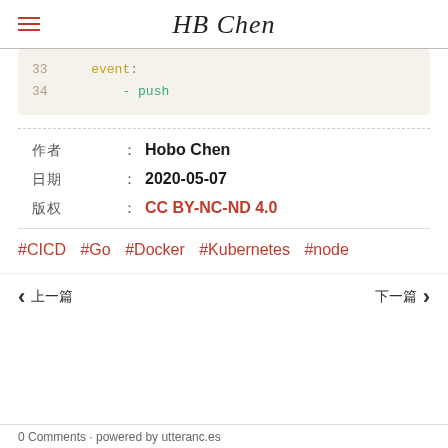HB Chen
33    event:
34        - push
作者： Hobo Chen
日期： 2020-05-07
版权： CC BY-NC-ND 4.0
#CICD #Go #Docker #Kubernetes #node
< 上一篇   下一篇 >
0 Comments · powered by utteranc.es